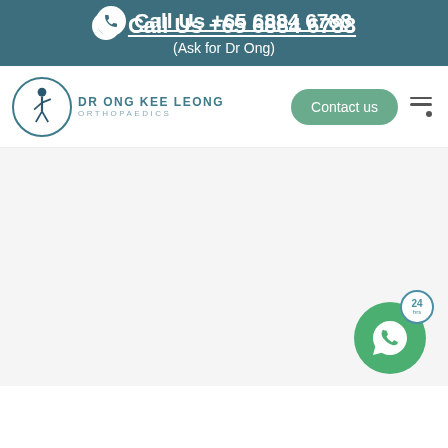Call Us +65 6884 6788 (Ask for Dr Ong)
[Figure (logo): Dr Ong Kee Leong Orthopaedics logo with clinic name and navigation buttons including Contact us]
[Figure (illustration): WhatsApp 24hrs contact button in bottom right corner]